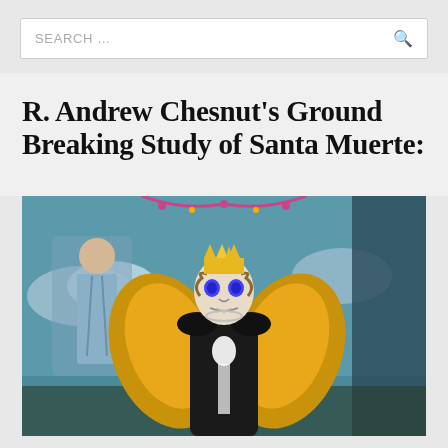SEARCH ...
R. Andrew Chesnut's Ground Breaking Study of Santa Muerte:
[Figure (photo): A Santa Muerte figurine wearing a golden crown and golden wings, dressed in black robes with white decorations, skull face with blue eyes, against a painted mural background depicting religious figures and sky with clouds.]